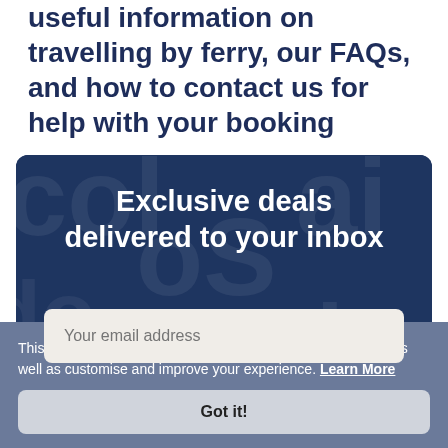useful information on travelling by ferry, our FAQs, and how to contact us for help with your booking
[Figure (infographic): Dark navy promotional banner with decorative background text showing 'Exclusive deals delivered to your inbox' and an email input field]
This website uses cookies to help us process your bookings as well as customise and improve your experience. Learn More
Got it!